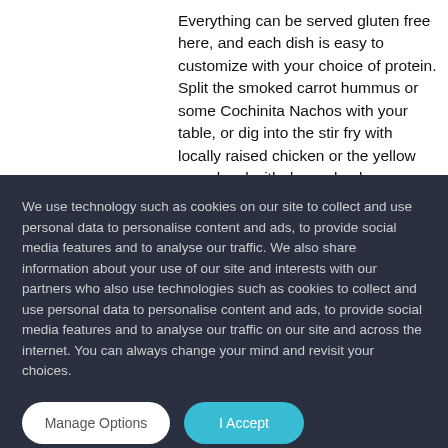Everything can be served gluten free here, and each dish is easy to customize with your choice of protein. Split the smoked carrot hummus or some Cochinita Nachos with your table, or dig into the stir fry with locally raised chicken or the yellow curry bowl with dorper lamb
We use technology such as cookies on our site to collect and use personal data to personalise content and ads, to provide social media features and to analyse our traffic. We also share information about your use of our site and interests with our partners who also use technologies such as cookies to collect and use personal data to personalise content and ads, to provide social media features and to analyse our traffic on our site and across the internet. You can always change your mind and revisit your choices.